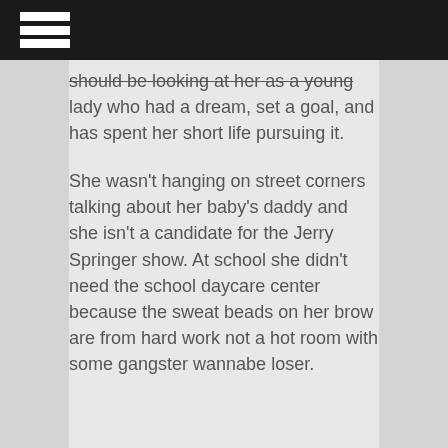≡
should be looking at her as a young lady who had a dream, set a goal, and has spent her short life pursuing it.

She wasn't hanging on street corners talking about her baby's daddy and she isn't a candidate for the Jerry Springer show. At school she didn't need the school daycare center because the sweat beads on her brow are from hard work not a hot room with some gangster wannabe loser.